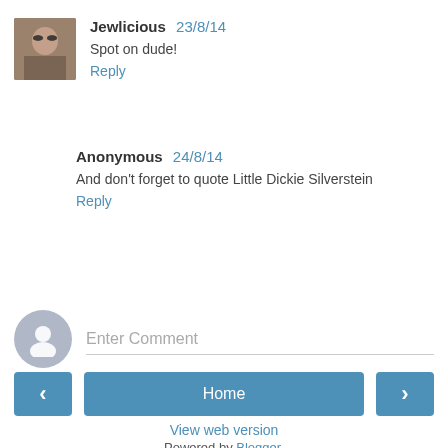[Figure (photo): Small avatar photo of a person wearing sunglasses]
Jewlicious 23/8/14
Spot on dude!
Reply
Anonymous 24/8/14
And don't forget to quote Little Dickie Silverstein
Reply
Enter Comment
Home
View web version
Powered by Blogger.